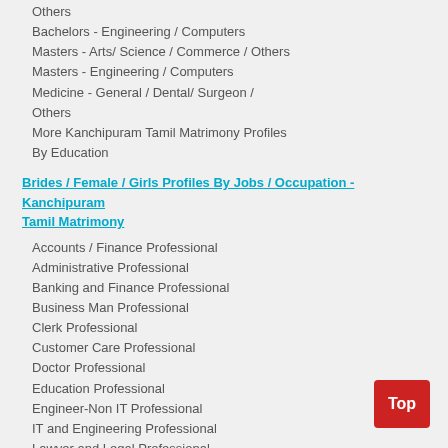Others
Bachelors - Engineering / Computers
Masters - Arts/ Science / Commerce / Others
Masters - Engineering / Computers
Medicine - General / Dental/ Surgeon / Others
More Kanchipuram Tamil Matrimony Profiles By Education
Brides / Female / Girls Profiles By Jobs / Occupation - Kanchipuram Tamil Matrimony
Accounts / Finance Professional
Administrative Professional
Banking and Finance Professional
Business Man Professional
Clerk Professional
Customer Care Professional
Doctor Professional
Education Professional
Engineer-Non IT Professional
IT and Engineering Professional
Lawyer and Legal Professional